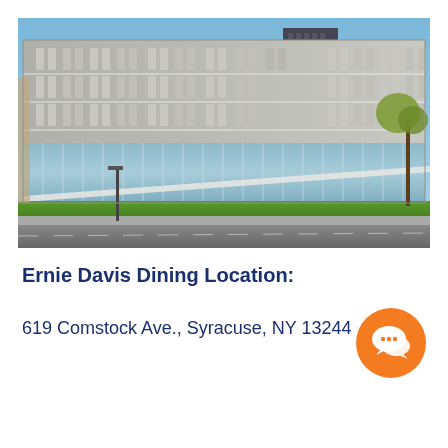[Figure (photo): Exterior photo of Ernie Davis dining hall at Syracuse University — a large modern multi-story building with glass facade on lower floors and stone/concrete upper floors, taken from street level with a road in the foreground and trees visible on the right.]
Ernie Davis Dining Location:
619 Comstock Ave., Syracuse, NY 13244
[Figure (illustration): Orange circular chat/speech bubble icon]